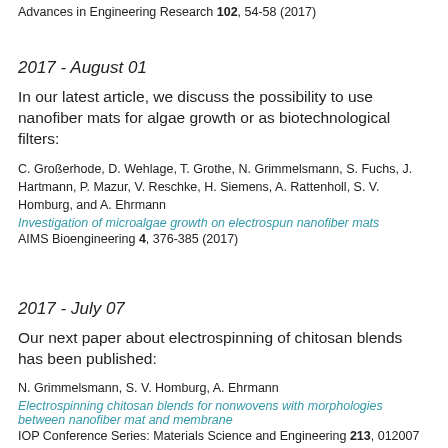Advances in Engineering Research 102, 54-58 (2017)
2017 - August 01
In our latest article, we discuss the possibility to use nanofiber mats for algae growth or as biotechnological filters:
C. Großerhode, D. Wehlage, T. Grothe, N. Grimmelsmann, S. Fuchs, J. Hartmann, P. Mazur, V. Reschke, H. Siemens, A. Rattenholl, S. V. Homburg, and A. Ehrmann
Investigation of microalgae growth on electrospun nanofiber mats
AIMS Bioengineering 4, 376-385 (2017)
2017 - July 07
Our next paper about electrospinning of chitosan blends has been published:
N. Grimmelsmann, S. V. Homburg, A. Ehrmann
Electrospinning chitosan blends for nonwovens with morphologies between nanofiber mat and membrane
IOP Conference Series: Materials Science and Engineering 213, 012007 (2017)